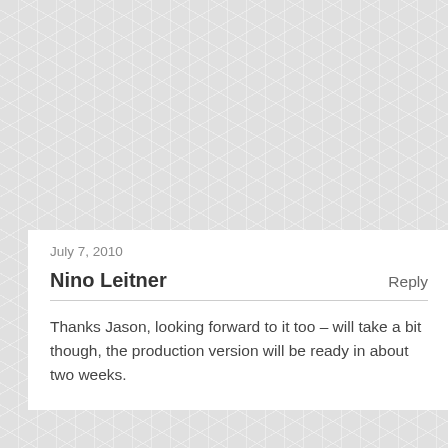Wow Im so glad I check this site daily! That Letus Hawk looks amazing!! I hope it gets a good review because I'd totally buy that over a Zacuto based on looks alone…Lucky man Nino! get that review up asap 😛
July 7, 2010
Nino Leitner
Reply
Thanks Jason, looking forward to it too – will take a bit though, the production version will be ready in about two weeks.